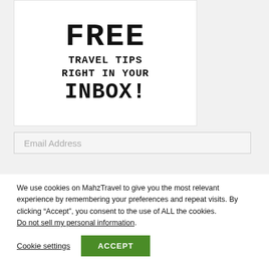[Figure (illustration): Promotional banner with text FREE TRAVEL TIPS RIGHT IN YOUR INBOX! in typewriter style font on white background]
Email Address
We use cookies on MahzTravel to give you the most relevant experience by remembering your preferences and repeat visits. By clicking “Accept”, you consent to the use of ALL the cookies. Do not sell my personal information.
Cookie settings
ACCEPT